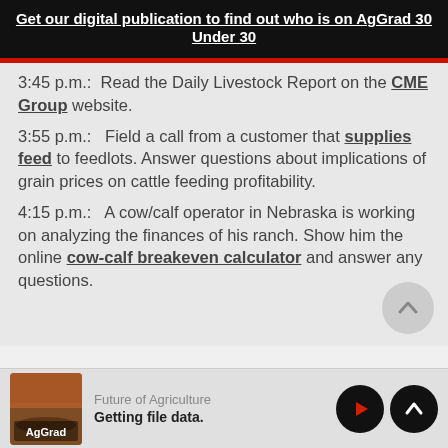Get our digital publication to find out who is on AgGrad 30 Under 30
3:45 p.m.:  Read the Daily Livestock Report on the CME Group website.
3:55 p.m.:  Field a call from a customer that supplies feed to feedlots. Answer questions about implications of grain prices on cattle feeding profitability.
4:15 p.m.:  A cow/calf operator in Nebraska is working on analyzing the finances of his ranch. Show him the online cow-calf breakeven calculator and answer any questions.
Future of Agriculture — Getting file data.